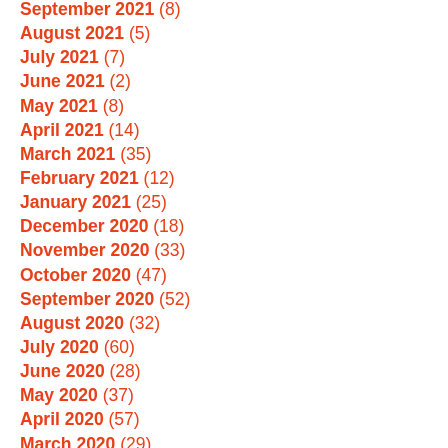September 2021 (8)
August 2021 (5)
July 2021 (7)
June 2021 (2)
May 2021 (8)
April 2021 (14)
March 2021 (35)
February 2021 (12)
January 2021 (25)
December 2020 (18)
November 2020 (33)
October 2020 (47)
September 2020 (52)
August 2020 (32)
July 2020 (60)
June 2020 (28)
May 2020 (37)
April 2020 (57)
March 2020 (29)
February 2020 (?)